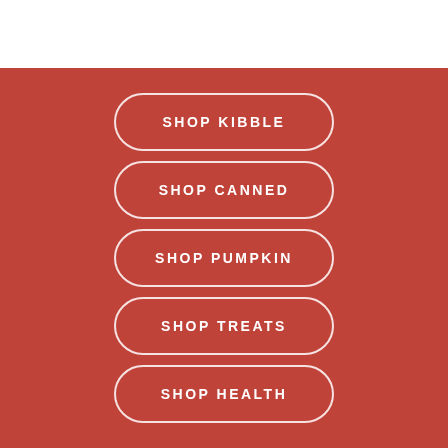SHOP KIBBLE
SHOP CANNED
SHOP PUMPKIN
SHOP TREATS
SHOP HEALTH